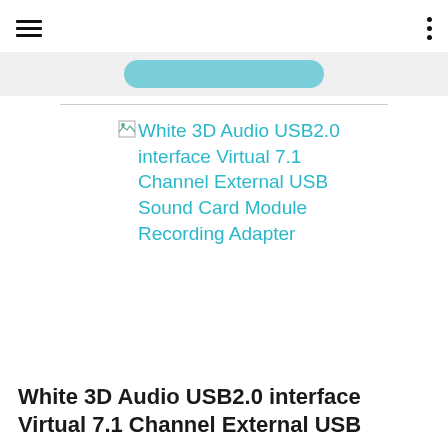Navigation header with hamburger menu and dots menu
[Figure (screenshot): Broken image placeholder with cyan/teal link text reading: White 3D Audio USB2.0 interface Virtual 7.1 Channel External USB Sound Card Module Recording Adapter]
White 3D Audio USB2.0 interface Virtual 7.1 Channel External USB Sound Card Module Recording Adapter